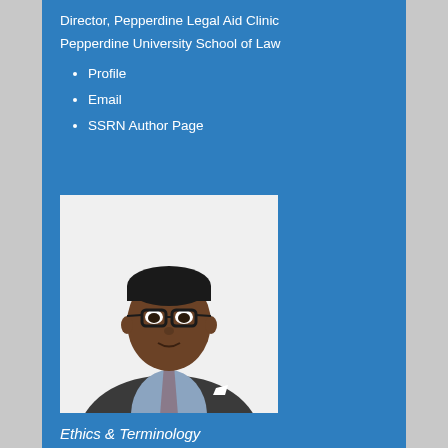Director, Pepperdine Legal Aid Clinic
Pepperdine University School of Law
Profile
Email
SSRN Author Page
[Figure (photo): Professional headshot of a young Black man wearing glasses, a dark suit jacket, light blue dress shirt, and a patterned tie. White background.]
Ethics & Terminology